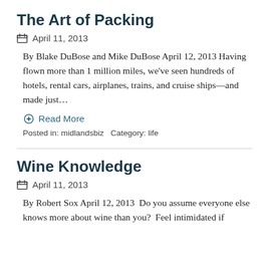The Art of Packing
April 11, 2013
By Blake DuBose and Mike DuBose April 12, 2013 Having flown more than 1 million miles, we've seen hundreds of hotels, rental cars, airplanes, trains, and cruise ships—and made just…
Read More
Posted in: midlandsbiz   Category: life
Wine Knowledge
April 11, 2013
By Robert Sox April 12, 2013  Do you assume everyone else knows more about wine than you?  Feel intimidated if